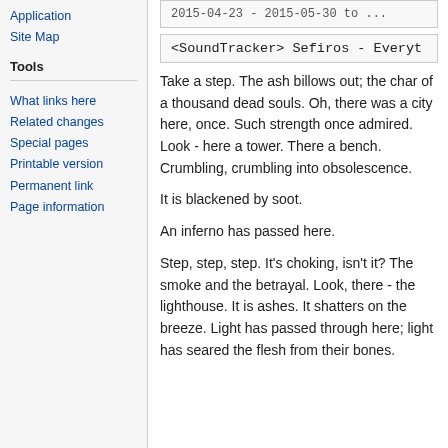Application
Site Map
Tools
What links here
Related changes
Special pages
Printable version
Permanent link
Page information
2015-04-23 - 2015-05-30 to ...
<SoundTracker> Sefiros - Everyt
Take a step. The ash billows out; the char of a thousand dead souls. Oh, there was a city here, once. Such strength once admired. Look - here a tower. There a bench. Crumbling, crumbling into obsolescence.
It is blackened by soot.
An inferno has passed here.
Step, step, step. It's choking, isn't it? The smoke and the betrayal. Look, there - the lighthouse. It is ashes. It shatters on the breeze. Light has passed through here; light has seared the flesh from their bones.